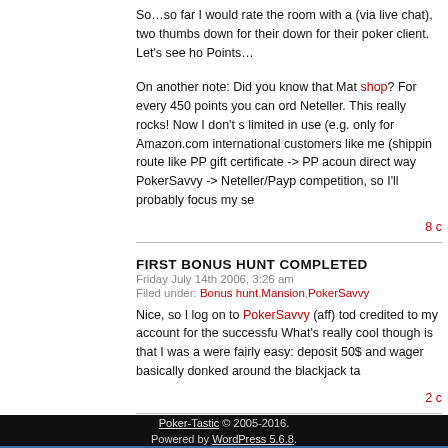So…so far I would rate the room with a (via live chat), two thumbs down for their down for their poker client. Let's see ho Points…
On another note: Did you know that Mat shop? For every 450 points you can ord Neteller. This really rocks! Now I don't s limited in use (e.g. only for Amazon.com international customers like me (shippin route like PP gift certificate -> PP acoun direct way PokerSavvy -> Neteller/Payp competition, so I'll probably focus my se
8 c
FIRST BONUS HUNT COMPLETED
Friday July 14th 2006, 3:26 am
Filed under: Bonus hunt, Mansion, PokerSavvy
Nice, so I log on to PokerSavvy (aff) tod credited to my account for the successfu What's really cool though is that I was a were fairly easy: deposit 50$ and wager basically donked around the blackjack ta
2 c
Poker-Tastic © 2005-2016. Powered by WordPress 5.6.8.